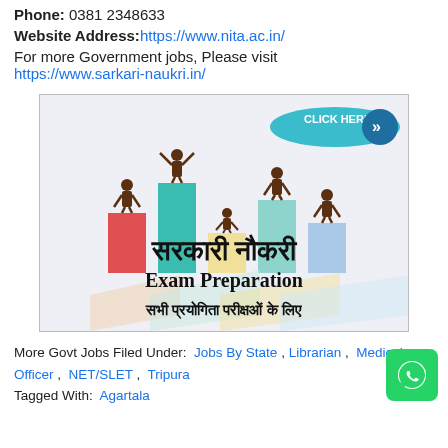Phone: 0381 2348633
Website Address: https://www.nita.ac.in/
For more Government jobs, Please visit
https://www.sarkari-naukri.in/
[Figure (illustration): Advertisement banner for Sarkari Naukri Exam Preparation with bar chart illustration showing people standing on colored bars, Hindi text reading 'सरकारी नौकरी', 'Exam Preparation', and 'सभी प्रयोगिता परीक्षओं के लिए', with a 'CLICK HERE' button in the top right corner.]
More Govt Jobs Filed Under: Jobs By State , Librarian , Medical Officer , NET/SLET , Tripura
Tagged With: Agartala